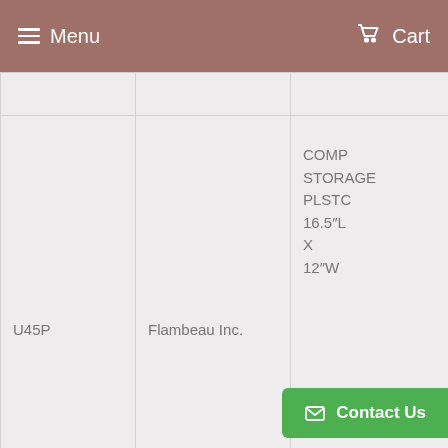Menu  Cart
|  |  |  |  |
| --- | --- | --- | --- |
| U45P | Flambeau Inc. | COMP STORAGE PLSTC 16.5"L X 12"W |  |
| NBF-32218 | Bud Industries | BOX ABS/PC GRY/CL 11.81" X 7.87" |  |
|  |  | BOX ALUM |  |